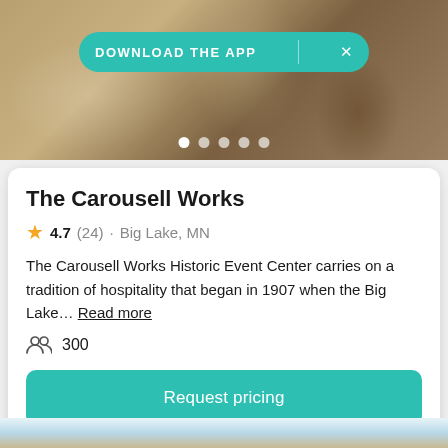[Figure (photo): Wedding venue interior photo showing table setting with white drapes and floral arrangements in background]
The Carousell Works
4.7 (24) · Big Lake, MN
The Carousell Works Historic Event Center carries on a tradition of hospitality that began in 1907 when the Big Lake… Read more
300
Request pricing
[Figure (photo): Exterior photo of historic stone building with trees and blue sky]